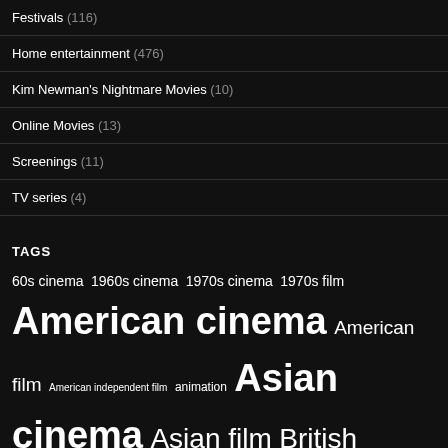Festivals (116)
Home entertainment (476)
Kim Newman's Nightmare Movies (10)
Online Movies (13)
Screenings (11)
TV series (4)
TAGS
60s cinema 1960s cinema 1970s cinema 1970s film American cinema American film American independent film animation Asian cinema Asian film British cinema British film Cannes crime crime thriller Czech cinema David Cronenberg documentary Eastern European Cinema film noir French cinema FrightFest ...